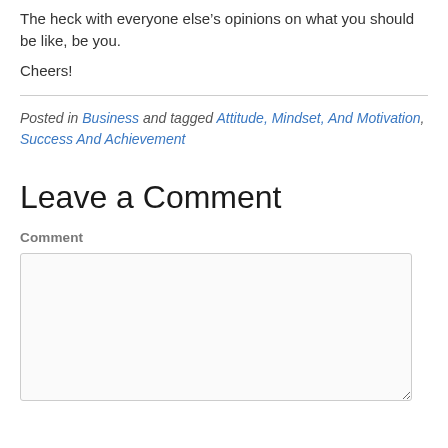The heck with everyone else’s opinions on what you should be like, be you.
Cheers!
Posted in Business and tagged Attitude, Mindset, And Motivation, Success And Achievement
Leave a Comment
Comment